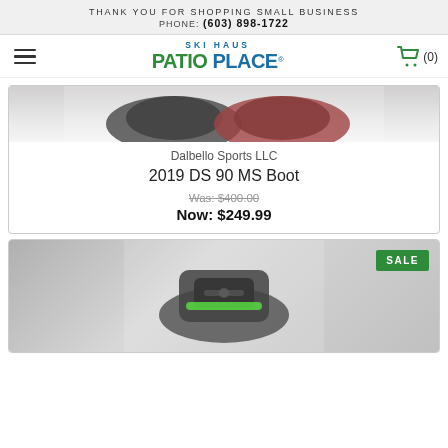THANK YOU FOR SHOPPING SMALL BUSINESS
PHONE: (603) 898-1722
[Figure (logo): Ski Haus Patio Place logo with hamburger menu and shopping cart icon showing (0) items]
[Figure (photo): Two ski boots (black and red/black) partially visible at top of product card]
Dalbello Sports LLC
2019 DS 90 MS Boot
Was: $400.00
Now: $249.99
[Figure (photo): Black and green snowboard bindings product photo with SALE badge in top right corner]